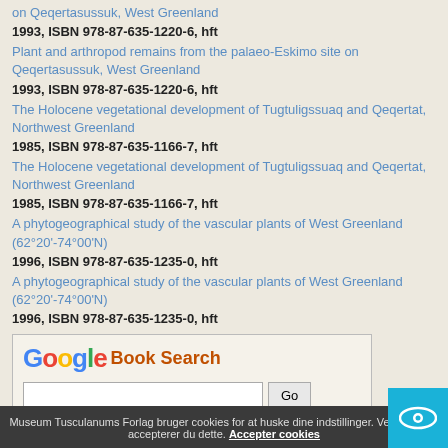on Qeqertasussuk, West Greenland
1993, ISBN 978-87-635-1220-6, hft
Plant and arthropod remains from the palaeo-Eskimo site on Qeqertasussuk, West Greenland
1993, ISBN 978-87-635-1220-6, hft
The Holocene vegetational development of Tugtuligssuaq and Qeqertat, Northwest Greenland
1985, ISBN 978-87-635-1166-7, hft
The Holocene vegetational development of Tugtuligssuaq and Qeqertat, Northwest Greenland
1985, ISBN 978-87-635-1166-7, hft
A phytogeographical study of the vascular plants of West Greenland (62°20'-74°00'N)
1996, ISBN 978-87-635-1235-0, hft
A phytogeographical study of the vascular plants of West Greenland (62°20'-74°00'N)
1996, ISBN 978-87-635-1235-0, hft
[Figure (screenshot): Google Book Search widget with search input and Go button]
Din mening
Indlæg offentliggøres med navn og e-mail. Forlaget forbeholder sig ret til at redigere og udelade indlæg.
Museum Tusculanums Forlag bruger cookies for at huske dine indstillinger. Ved at klikke accepterer du dette. Accepter cookies